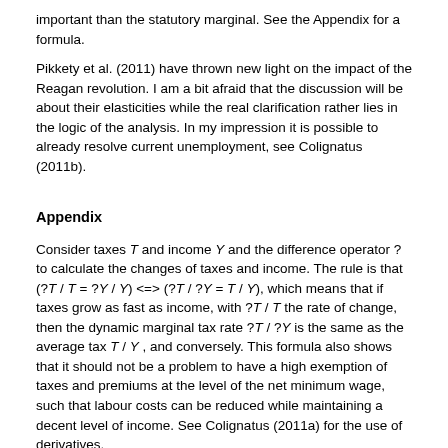important than the statutory marginal. See the Appendix for a formula.
Pikkety et al. (2011) have thrown new light on the impact of the Reagan revolution. I am a bit afraid that the discussion will be about their elasticities while the real clarification rather lies in the logic of the analysis. In my impression it is possible to already resolve current unemployment, see Colignatus (2011b).
Appendix
Consider taxes T and income Y and the difference operator ? to calculate the changes of taxes and income. The rule is that (?T / T = ?Y / Y) <=> (?T / ?Y = T / Y), which means that if taxes grow as fast as income, with ?T / T the rate of change, then the dynamic marginal tax rate ?T / ?Y is the same as the average tax T / Y , and conversely. This formula also shows that it should not be a problem to have a high exemption of taxes and premiums at the level of the net minimum wage, such that labour costs can be reduced while maintaining a decent level of income. See Colignatus (2011a) for the use of derivatives.
References